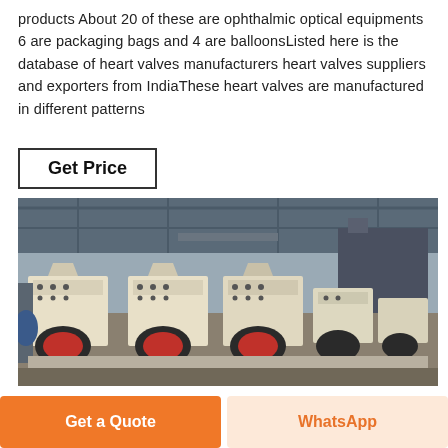products About 20 of these are ophthalmic optical equipments 6 are packaging bags and 4 are balloonsListed here is the database of heart valves manufacturers heart valves suppliers and exporters from IndiaThese heart valves are manufactured in different patterns
Get Price
[Figure (photo): Industrial factory floor showing a row of heavy machinery (impact crushers or similar industrial milling equipment) with motors attached, painted cream/off-white, arranged in a line inside a large warehouse or factory building.]
Get a Quote
WhatsApp